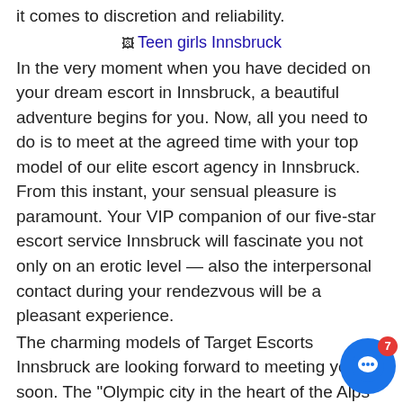it comes to discretion and reliability.
[Figure (illustration): Placeholder image labeled 'Teen girls Innsbruck']
In the very moment when you have decided on your dream escort in Innsbruck, a beautiful adventure begins for you. Now, all you need to do is to meet at the agreed time with your top model of our elite escort agency in Innsbruck. From this instant, your sensual pleasure is paramount. Your VIP companion of our five-star escort service Innsbruck will fascinate you not only on an erotic level — also the interpersonal contact during your rendezvous will be a pleasant experience.
The charming models of Target Escorts Innsbruck are looking forward to meeting you soon. The "Olympic city in the heart of the Alps" is so much more than just a big player in winter sports! In the company of your beautiful top model of elite escort service Innsbruck you will soon realize just how resourceful this idyllic town actually. Enjoy with your sweet student Innsbruck from a new perspective. Take advantage of our girlfriend service,